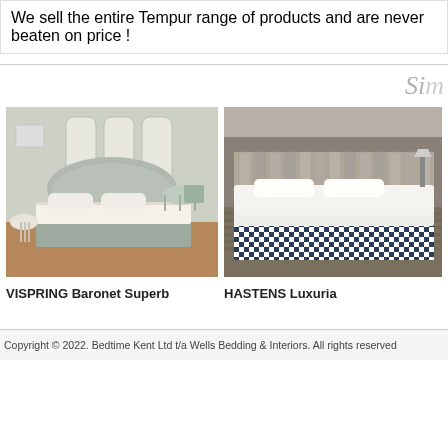We sell the entire Tempur range of products and are never beaten on price !
Si...
[Figure (photo): Photo of a VISPRING Baronet Superb bed in an elegant light-coloured bedroom setting with tall windows]
VISPRING Baronet Superb
[Figure (photo): Photo of a HASTENS Luxuria bed with navy blue and white check base, outdoors on sandy rocky terrain]
HASTENS Luxuria
Copyright © 2022. Bedtime Kent Ltd t/a Wells Bedding & Interiors. All rights reserved